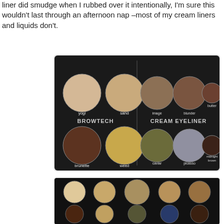liner did smudge when I rubbed over it intentionally, I'm sure this wouldn't last through an afternoon nap –most of my cream liners and liquids don't.
[Figure (photo): A makeup palette with two sections labeled BROWTECH and CREAM EYELINER, showing 10 round pans in shades including light tan, sand, beige, nude, butter, brunette, weed, caviar, picasso, and midnight brown.]
[Figure (photo): A second view of a similar makeup palette showing two rows of five round pans each: top row has light/neutral shades, bottom row has darker shades including brown, tan/blonde, olive-gray, navy/dark blue, and dark brown.]